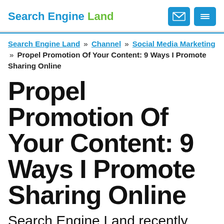Search Engine Land
Search Engine Land » Channel » Social Media Marketing » Propel Promotion Of Your Content: 9 Ways I Promote Sharing Online
Propel Promotion Of Your Content: 9 Ways I Promote Sharing Online
Search Engine Land recently published its top 10 articles of 2012, and I had articles in the #1 and #6 positions on that list. The